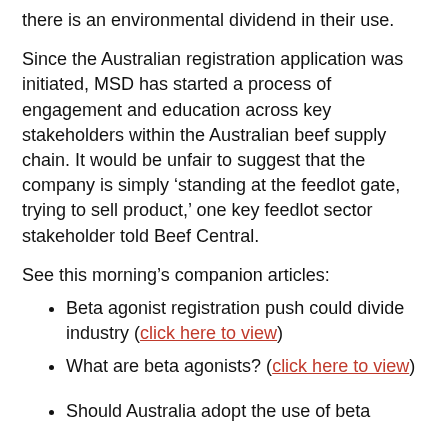there is an environmental dividend in their use.
Since the Australian registration application was initiated, MSD has started a process of engagement and education across key stakeholders within the Australian beef supply chain. It would be unfair to suggest that the company is simply ‘standing at the feedlot gate, trying to sell product,’ one key feedlot sector stakeholder told Beef Central.
See this morning’s companion articles:
Beta agonist registration push could divide industry (click here to view)
What are beta agonists? (click here to view)
Should Australia adopt the use of beta